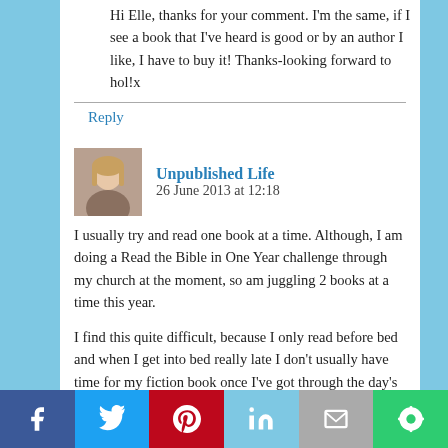Hi Elle, thanks for your comment. I'm the same, if I see a book that I've heard is good or by an author I like, I have to buy it! Thanks-looking forward to hol!x
Reply
Unpublished Life  26 June 2013 at 12:18
I usually try and read one book at a time. Although, I am doing a Read the Bible in One Year challenge through my church at the moment, so am juggling 2 books at a time this year.
I find this quite difficult, because I only read before bed and when I get into bed really late I don't usually have time for my fiction book once I've got through the day's Bible passages. But, I'm slowly making reading more of a routine now.